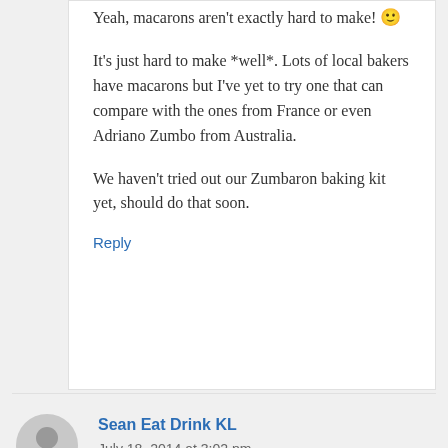Yeah, macarons aren't exactly hard to make! 🙂
It's just hard to make *well*. Lots of local bakers have macarons but I've yet to try one that can compare with the ones from France or even Adriano Zumbo from Australia.
We haven't tried out our Zumbaron baking kit yet, should do that soon.
Reply
Sean Eat Drink KL
July 18, 2014 at 3:02 pm